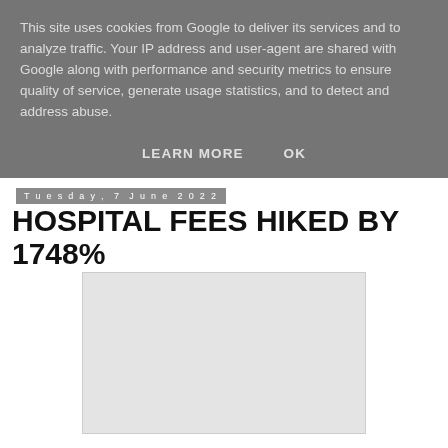This site uses cookies from Google to deliver its services and to analyze traffic. Your IP address and user-agent are shared with Google along with performance and security metrics to ensure quality of service, generate usage statistics, and to detect and address abuse.
LEARN MORE    OK
Tuesday, 7 June 2022
HOSPITAL FEES HIKED BY 1748%
[Figure (other): Advertisement or image placeholder box (light gray rectangle)]
GOVERNMENT has hiked user fees at public hospitals by 1,748%, prompting analysts to warn of an upsurge in home...